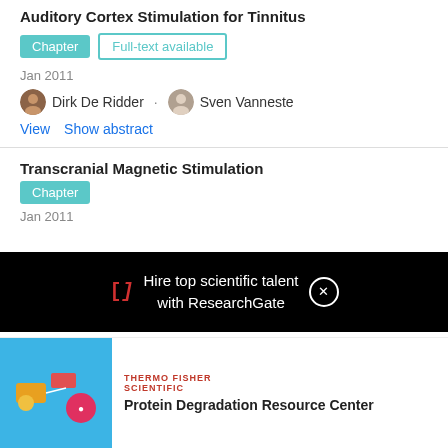Auditory Cortex Stimulation for Tinnitus
Chapter  Full-text available
Jan 2011
Dirk De Ridder · Sven Vanneste
View   Show abstract
Transcranial Magnetic Stimulation
Chapter
Jan 2011
[Figure (infographic): ResearchGate advertisement overlay: black banner with RG logo bracket icon in red, text 'Hire top scientific talent with ResearchGate' in white, and a circular close button]
[Figure (infographic): Thermo Fisher Scientific advertisement for Protein Degradation Resource Center showing a cell biology illustration with molecular pathway diagram]
Protein Degradation Resource Center